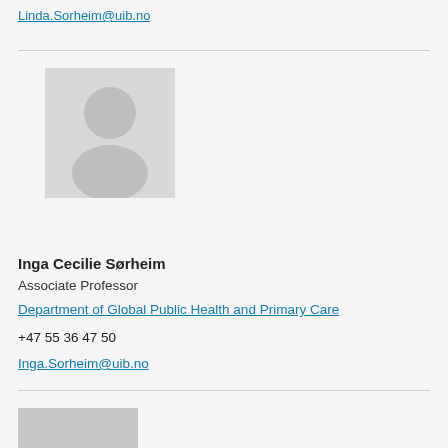Linda.Sorheim@uib.no
[Figure (illustration): Generic placeholder avatar silhouette of a person, light gray background]
Inga Cecilie Sørheim
Associate Professor
Department of Global Public Health and Primary Care
+47 55 36 47 50
Inga.Sorheim@uib.no
[Figure (photo): Partially visible person photo at the bottom of the page]